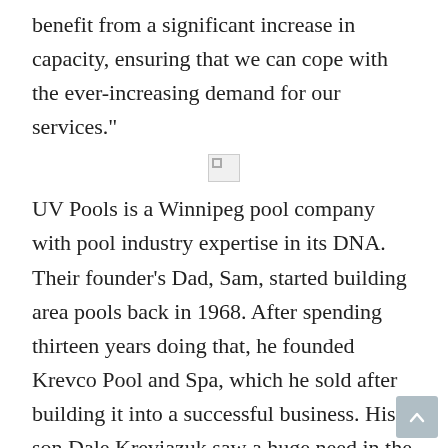benefit from a significant increase in capacity, ensuring that we can cope with the ever-increasing demand for our services."
[Figure (photo): Broken image placeholder icon]
UV Pools is a Winnipeg pool company with pool industry expertise in its DNA. Their founder's Dad, Sam, started building area pools back in 1968. After spending thirteen years doing that, he founded Krevco Pool and Spa, which he sold after building it into a successful business. His son Dale Kreviazuk saw a huge need in the area for specialization in pool liner repairs and pool renovations and struck out on his own in 2006 as a one-man show. In 2009, UV Pools hired its first employee, and they have been a fixture in the